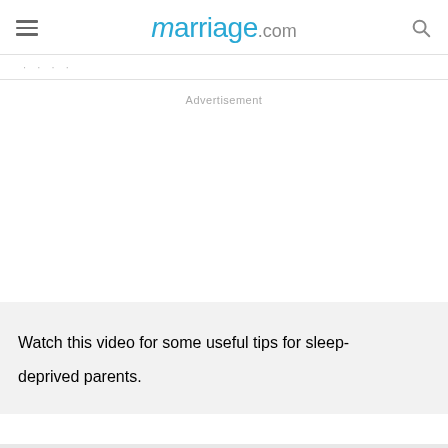marriage.com
Advertisement
Watch this video for some useful tips for sleep-deprived parents.